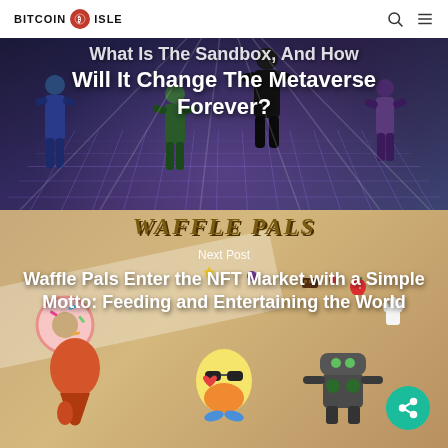BITCOIN ISLE
[Figure (screenshot): Hero image of The Sandbox metaverse with stylized avatar figures on a glowing grid floor with dark purple/blue background]
What Is The Sandbox, And How Will It Change The Metaverse Forever?
[Figure (screenshot): Waffle Pals NFT promotional image with cartoon food characters on a tan/beige background with the Waffle Pals logo]
Next Post
Waffle Pals Enter the NFT Market with a Simple Motto: Feeding and Entertaining the World